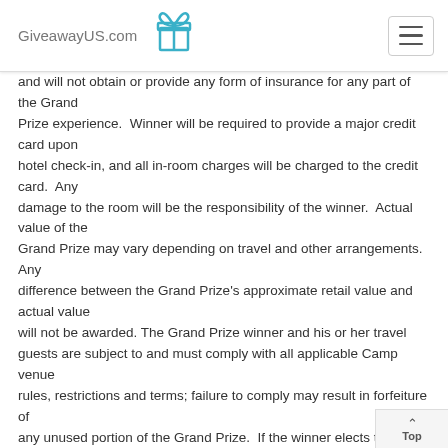GiveawayUS.com
and will not obtain or provide any form of insurance for any part of the Grand Prize experience.  Winner will be required to provide a major credit card upon hotel check-in, and all in-room charges will be charged to the credit card.  Any damage to the room will be the responsibility of the winner.  Actual value of the Grand Prize may vary depending on travel and other arrangements.  Any difference between the Grand Prize's approximate retail value and actual value will not be awarded. The Grand Prize winner and his or her travel guests are subject to and must comply with all applicable Camp venue rules, restrictions and terms; failure to comply may result in forfeiture of any unused portion of the Grand Prize.  If the winner elects to partake in the Grand Prize with no guests or less than three (3) guests, no additional compensation will be awarded to the winner.  Sponsor is not responsible for postponement or cancellation of the Camp or